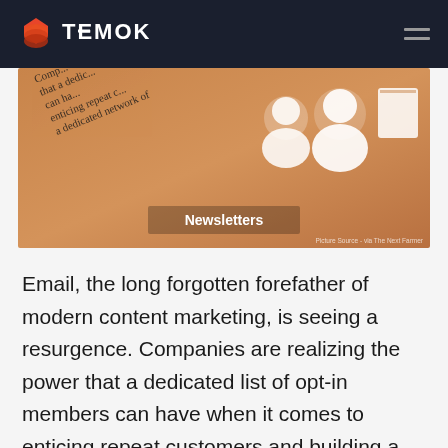TEMOK
[Figure (illustration): Newsletter promotional image with orange/amber gradient background, handwriting text overlay reading 'Companies that a dedicated list can have enticing repeat customers and a dedicated network of', white silhouette person icons on the right, and a 'Newsletters' label at the bottom center.]
Newsletters
Email, the long forgotten forefather of modern content marketing, is seeing a resurgence. Companies are realizing the power that a dedicated list of opt-in members can have when it comes to enticing repeat customers and building a dedicated network of loyal brand members.